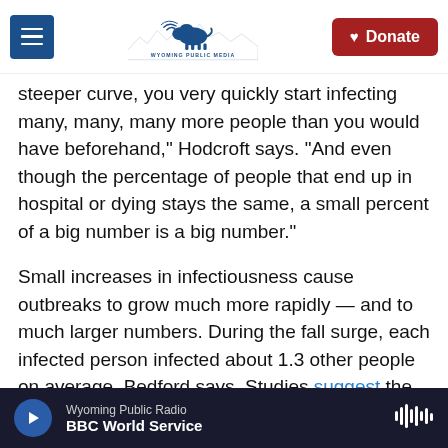Wyoming Public Media — Donate
steeper curve, you very quickly start infecting many, many, many more people than you would have beforehand," Hodcroft says. "And even though the percentage of people that end up in hospital or dying stays the same, a small percent of a big number is a big number."
Small increases in infectiousness cause outbreaks to grow much more rapidly — and to much larger numbers. During the fall surge, each infected person infected about 1.3 other people on average, Bedford says. Studies suggest the new variant raises this value by about 0.5, so each sick person
Wyoming Public Radio — BBC World Service